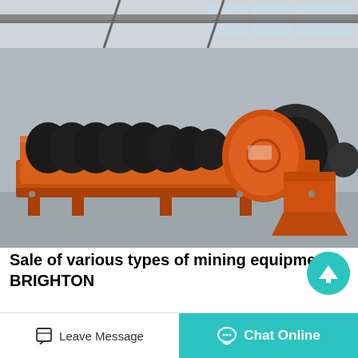[Figure (photo): Industrial orange spiral/screw classifier mining equipment sitting on a factory floor. Large orange spiral conveyor with black helical flights, mounted on an orange frame with a motor drive unit at one end. Industrial building with overhead cranes in background.]
Sale of various types of mining equipment - BRIGHTON
Aug 22, 2019 Stone Crusher Mach...